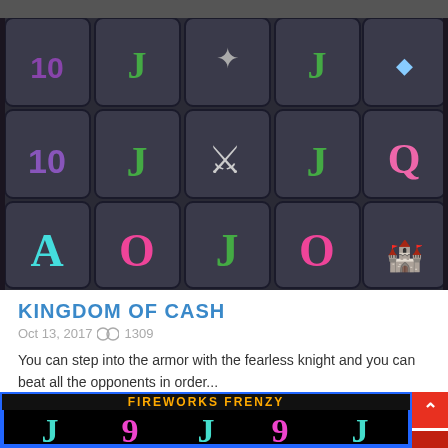[Figure (screenshot): Kingdom of Cash slot machine game screenshot showing a 5-reel grid with medieval knight symbols, letter cards (10, J, Q, A, O) in purple, green, and pink on dark stone-textured tiles]
KINGDOM OF CASH
Oct 13, 2017  🔗 1309
You can step into the armor with the fearless knight and you can beat all the opponents in order...
[Figure (screenshot): Fireworks Frenzy slot machine game screenshot showing neon-lit reels with letters J, 9, A in teal and pink on a black background with blue border and firework effects]